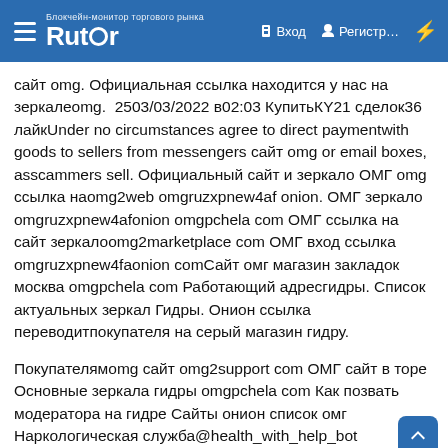Rutor — Вход | Регистр...
сайт omg. Официальная ссылка находится у нас на зеркалеomg.  2503/03/2022 в02:03 КупитьКY21 сделок36 лайкUnder no circumstances agree to direct paymentwith goods to sellers from messengers сайт omg or email boxes, asscammers sell. Официальный сайт и зеркало ОМГ omg ссылка наomg2web omgruzxpnew4af onion. ОМГ зеркало omgruzxpnew4afonion omgpchela com ОМГ ссылка на сайт зеркалоomg2marketplace com ОМГ вход ссылка omgruzxpnew4faonion comСайт омг магазин закладок москва omgpchela com Работающий адресгидры. Список актуальных зеркал Гидры. Онион ссылка переводитпокупателя на серый магазин гидру.
Покупателямomg сайт omg2support com ОМГ сайт в торе Основные зеркала гидры omgpchela com Как позвать модератора на гидре Сайты онион список омг Наркологическая служба@health_with_help_bot МагазинамПроверенные зеркала гидры omg ssylka onion com Топонион сайтов Мониторинг сайта omg Сайт в торе